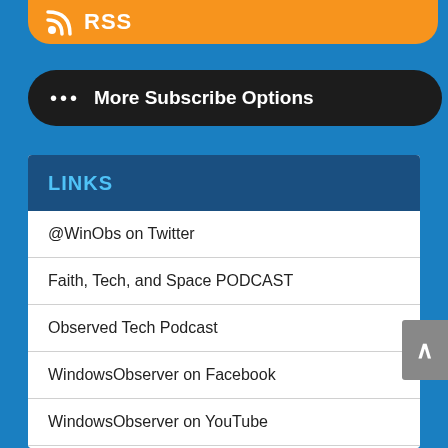[Figure (screenshot): Orange RSS bar at top with RSS icon and text]
••• More Subscribe Options
LINKS
@WinObs on Twitter
Faith, Tech, and Space PODCAST
Observed Tech Podcast
WindowsObserver on Facebook
WindowsObserver on YouTube
WindowsObserver WiKi